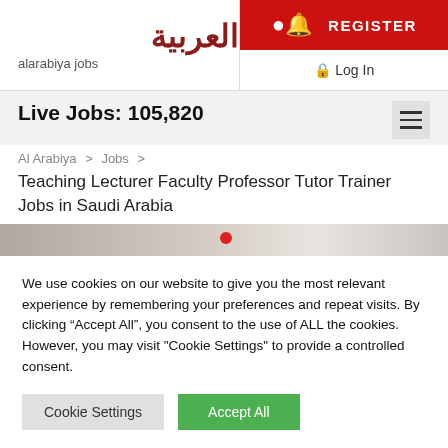[Figure (logo): Al Arabiya Jobs logo with Arabic text in dark red and 'alarabiya jobs' in grey beneath]
REGISTER | Log In
Live Jobs: 105,820
Al Arabiya > Jobs > Teaching Lecturer Faculty Professor Tutor Trainer Jobs in Saudi Arabia
[Figure (photo): Partial banner image strip]
We use cookies on our website to give you the most relevant experience by remembering your preferences and repeat visits. By clicking “Accept All”, you consent to the use of ALL the cookies. However, you may visit "Cookie Settings" to provide a controlled consent.
Cookie Settings | Accept All